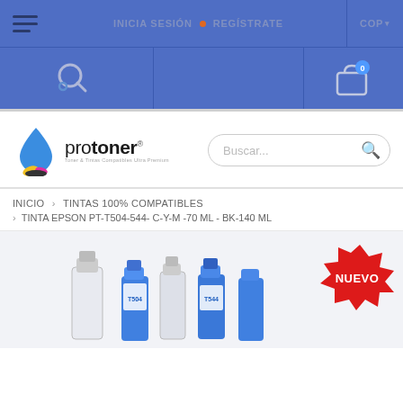INICIA SESIÓN · REGÍSTRATE · COP
[Figure (screenshot): Protoner website navigation bar with hamburger menu, login/register links, and currency selector (COP)]
[Figure (logo): Protoner logo with water drop ink icon and text 'protoner - Toner & Tintas Compatibles Ultra Premium']
INICIO > TINTAS 100% COMPATIBLES
> TINTA EPSON PT-T504-544- C-Y-M -70 ML - BK-140 ML
[Figure (photo): Product image showing Epson compatible ink bottles in blue packaging with a red 'NUEVO' starburst badge in the corner]